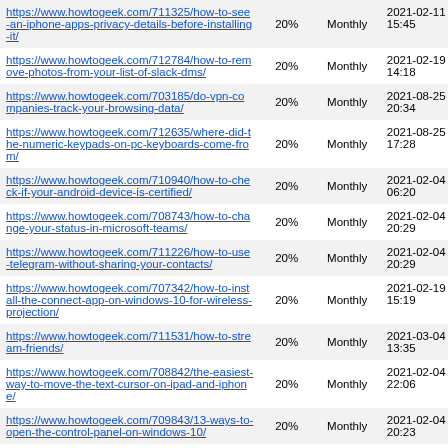| URL | Priority | Change Frequency | Last Modified |
| --- | --- | --- | --- |
| https://www.howtogeek.com/711325/how-to-see-an-iphone-apps-privacy-details-before-installing-it/ | 20% | Monthly | 2021-02-11 15:45 |
| https://www.howtogeek.com/712784/how-to-remove-photos-from-your-list-of-slack-dms/ | 20% | Monthly | 2021-02-19 14:18 |
| https://www.howtogeek.com/703185/do-vpn-companies-track-your-browsing-data/ | 20% | Monthly | 2021-08-25 20:34 |
| https://www.howtogeek.com/712635/where-did-the-numeric-keypads-on-pc-keyboards-come-from/ | 20% | Monthly | 2021-08-25 17:28 |
| https://www.howtogeek.com/710940/how-to-check-if-your-android-device-is-certified/ | 20% | Monthly | 2021-02-04 06:20 |
| https://www.howtogeek.com/708743/how-to-change-your-status-in-microsoft-teams/ | 20% | Monthly | 2021-02-04 20:29 |
| https://www.howtogeek.com/711226/how-to-use-telegram-without-sharing-your-contacts/ | 20% | Monthly | 2021-02-04 20:29 |
| https://www.howtogeek.com/707342/how-to-install-the-connect-app-on-windows-10-for-wireless-projection/ | 20% | Monthly | 2021-02-19 15:19 |
| https://www.howtogeek.com/711531/how-to-stream-friends/ | 20% | Monthly | 2021-03-04 13:35 |
| https://www.howtogeek.com/708842/the-easiest-way-to-move-the-text-cursor-on-ipad-and-iphone/ | 20% | Monthly | 2021-02-04 22:06 |
| https://www.howtogeek.com/709843/13-ways-to-open-the-control-panel-on-windows-10/ | 20% | Monthly | 2021-02-04 20:23 |
| https://www.howtogeek.com/710001/how-to- | 20% | Monthly | 2021-02- |